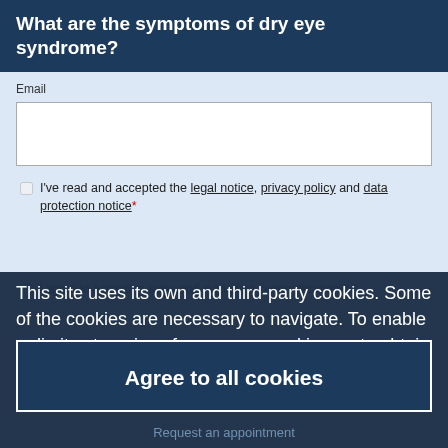What are the symptoms of dry eye syndrome?
Email
I've read and accepted the legal notice, privacy policy and data protection notice*
I agree to accepting sales and marketing communications*
This site uses its own and third-party cookies. Some of the cookies are necessary to navigate. To enable or limit categories of accessory cookies, or to obtain more information, customize the settings.
Agree to all cookies
Request an appointment